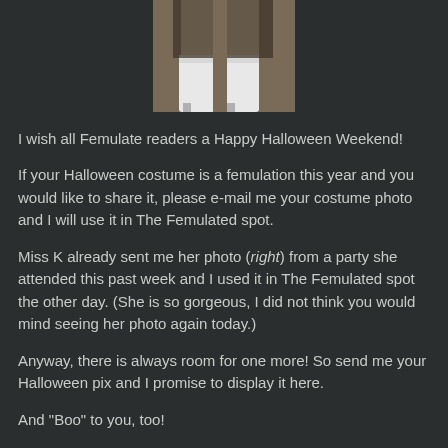[Figure (photo): Partial photo showing a person's legs wearing white knee-high boots and a dark outfit, cropped at the top and bottom]
I wish all Femulate readers a Happy Halloween Weekend!
If your Halloween costume is a femulation this year and you would like to share it, please e-mail me your costume photo and I will use it in The Femulated spot.
Miss K already sent me her photo (right) from a party she attended this past week and I used it in The Femulated spot the other day. (She is so gorgeous, I did not think you would mind seeing her photo again today.)
Anyway, there is always room for one more! So send me your Halloween pix and I promise to display it here.
And "Boo" to you, too!
5 comments: